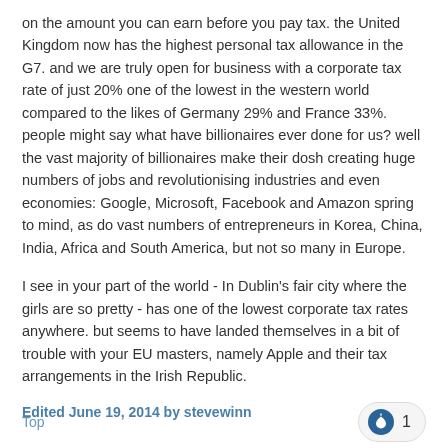on the amount you can earn before you pay tax. the United Kingdom now has the highest personal tax allowance in the G7. and we are truly open for business with a corporate tax rate of just 20% one of the lowest in the western world compared to the likes of Germany 29% and France 33%. people might say what have billionaires ever done for us? well the vast majority of billionaires make their dosh creating huge numbers of jobs and revolutionising industries and even economies: Google, Microsoft, Facebook and Amazon spring to mind, as do vast numbers of entrepreneurs in Korea, China, India, Africa and South America, but not so many in Europe.
I see in your part of the world - In Dublin's fair city where the girls are so pretty - has one of the lowest corporate tax rates anywhere. but seems to have landed themselves in a bit of trouble with your EU masters, namely Apple and their tax arrangements in the Irish Republic.
Edited June 19, 2014 by stevewinn
Top   1